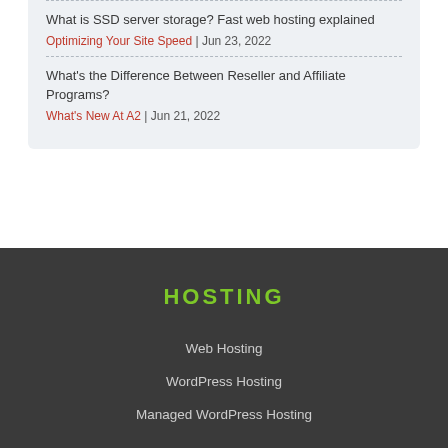What is SSD server storage? Fast web hosting explained
Optimizing Your Site Speed | Jun 23, 2022
What's the Difference Between Reseller and Affiliate Programs?
What's New At A2 | Jun 21, 2022
HOSTING
Web Hosting
WordPress Hosting
Managed WordPress Hosting